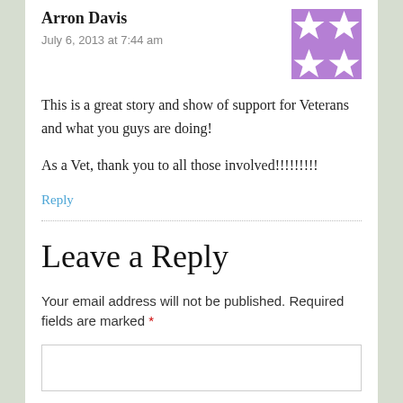Arron Davis
July 6, 2013 at 7:44 am
[Figure (illustration): Purple and white geometric quilt-pattern avatar image]
This is a great story and show of support for Veterans and what you guys are doing!

As a Vet, thank you to all those involved!!!!!!!!!
Reply
Leave a Reply
Your email address will not be published. Required fields are marked *